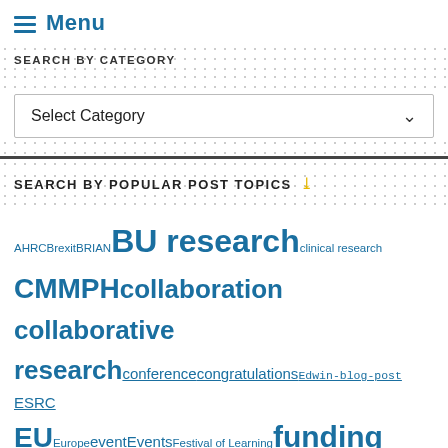≡ Menu
SEARCH BY CATEGORY
Select Category
SEARCH BY POPULAR POST TOPICS
AHRC Brexit BRIAN BU research clinical research CMMPH collaboration collaborative research conference congratulations Edwin-blog-post ESRC EU Europe event Events Festival of Learning funding funding opportunities Fusion Fusion Investment Fund Health horizon 2020 usc impact innovation knowledge exchange